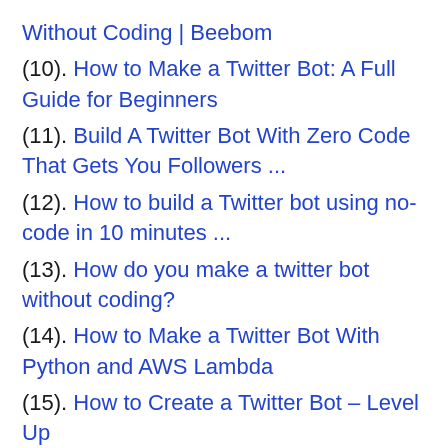Without Coding | Beebom
(10). How to Make a Twitter Bot: A Full Guide for Beginners
(11). Build A Twitter Bot With Zero Code That Gets You Followers ...
(12). How to build a Twitter bot using no-code in 10 minutes ...
(13). How do you make a twitter bot without coding?
(14). How to Make a Twitter Bot With Python and AWS Lambda
(15). How to Create a Twitter Bot – Level Up